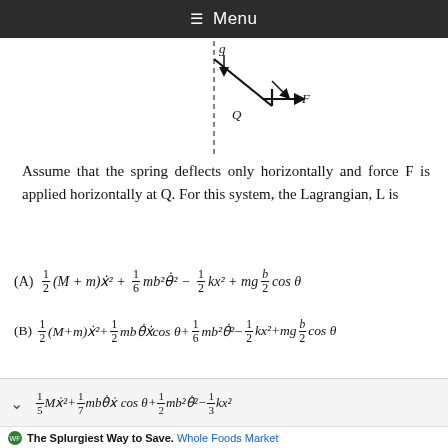≡ Menu
[Figure (engineering-diagram): Mechanical diagram showing a pendulum/rod attached at a pivot point on a dashed vertical line, with point Q at the base and force F applied horizontally to the right, and gravity g indicated at the top.]
Assume that the spring deflects only horizontally and force F is applied horizontally at Q. For this system, the Lagrangian, L is